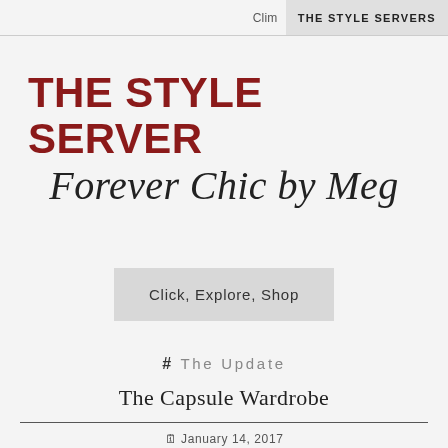Clim… THE STYLE SERVERS
THE STYLE SERVER
Forever Chic by Meg
Click, Explore, Shop
# The Update
The Capsule Wardrobe
January 14, 2017